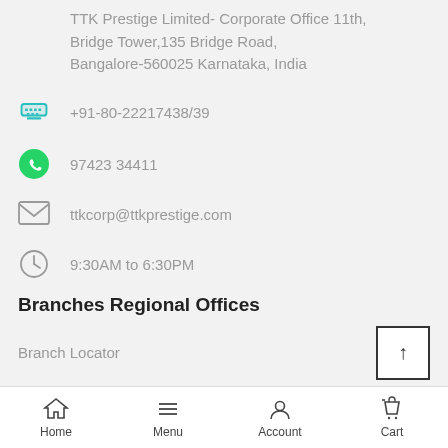TTK Prestige Limited- Corporate Office 11th, Bridge Tower,135 Bridge Road, Bangalore-560025 Karnataka, India
+91-80-22217438/39
97423 34411
ttkcorp@ttkprestige.com
9:30AM to 6:30PM
Branches Regional Offices
Branch Locator
Jobs & Careers
Home  Menu  Account  Cart